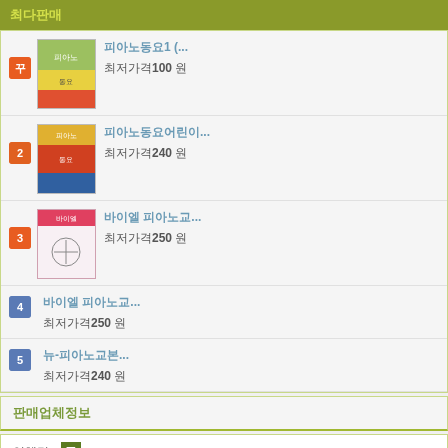최다판매
피아노동요1 (... | 최저가격100 원
피아노동요어린이... | 최저가격240 원
바이엘 피아노교... | 최저가격250 원
바이엘 피아노교... | 최저가격250 원
뉴-피아노교본... | 최저가격240 원
판매업체정보
업체명  Boston Music Company
업체정보
전체상품목록
정렬방식  이 업체의 판매상품 전체보기
[Figure (screenshot): A New Tune A Day book cover preview at bottom]